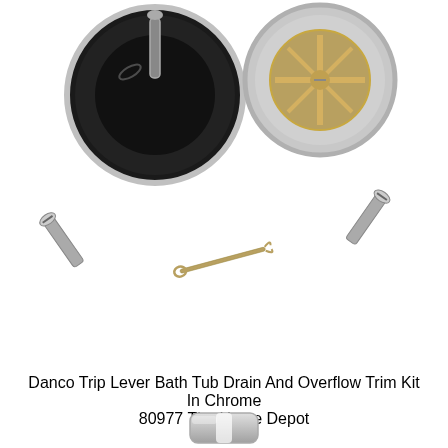[Figure (photo): Product photo of Danco Trip Lever Bath Tub Drain and Overflow Trim Kit components including two chrome drain covers/strainers, two screws, and a cotter pin arranged on white background]
Danco Trip Lever Bath Tub Drain And Overflow Trim Kit In Chrome 80977 The Home Depot
[Figure (photo): Close-up product photo of a chrome cotter pin / hairpin clip component from the Danco kit]